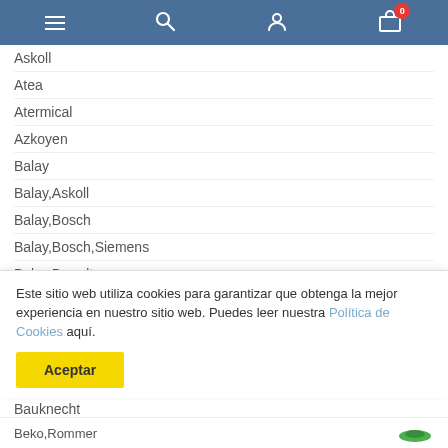Navigation header with menu, search, user, and cart icons
Askoll
Atea
Atermical
Azkoyen
Balay
Balay,Askoll
Balay,Bosch
Balay,Bosch,Siemens
Balay,Brandt
Balay,Copreci
Balay,Indesit
Balay,Whirlpool
Balay,Whirlpool,Crosslee
Bauknecht
Este sitio web utiliza cookies para garantizar que obtenga la mejor experiencia en nuestro sitio web. Puedes leer nuestra Política de Cookies aquí.
Aceptar
Beko,Rommer